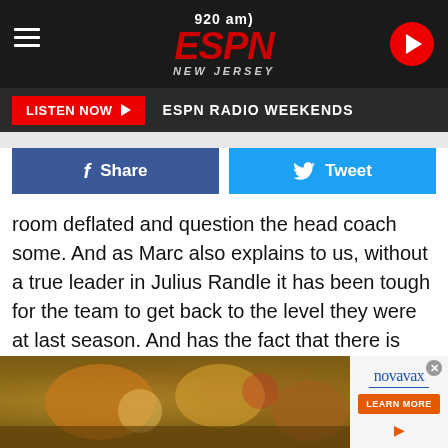920 am ESPN NEW JERSEY
LISTEN NOW ▶  ESPN RADIO WEEKENDS
Share  Tweet
room deflated and question the head coach some. And as Marc also explains to us, without a true leader in Julius Randle it has been tough for the team to get back to the level they were at last season. And has the fact that there is more fans in the building lead to Randle returning to pre-All-Star form? It is possible and Berman let us in on all the inside information there!
[Figure (photo): Overhead view of food dishes on a wooden table]
[Figure (other): Novavax advertisement with LEARN MORE button]